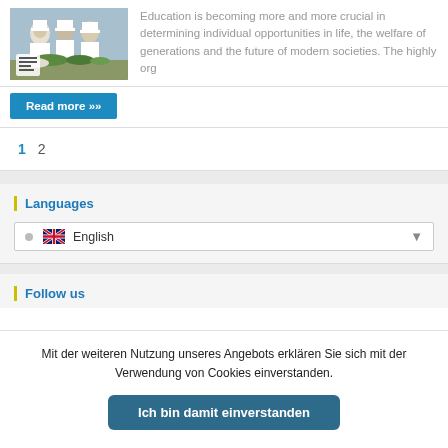[Figure (photo): Group of chefs in white uniforms working in a kitchen with food and greens]
Education is becoming more and more crucial in determining individual opportunities in life, the welfare of generations and the future of modern societies. The highly org
Read more »
1  2
Languages
English
Follow us
Mit der weiteren Nutzung unseres Angebots erklären Sie sich mit der Verwendung von Cookies einverstanden.
Ich bin damit einverstanden